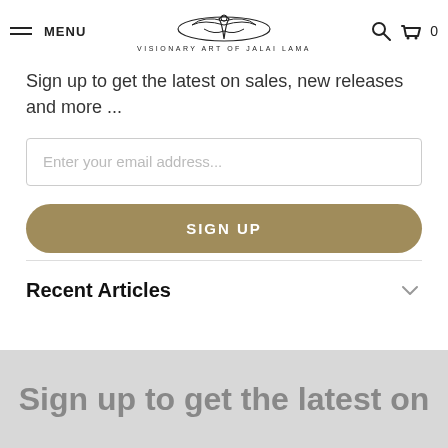MENU | VISIONARY ART OF JALAI LAMA | 0
Sign up to get the latest on sales, new releases and more ...
Enter your email address...
SIGN UP
Recent Articles
Sign up to get the latest on